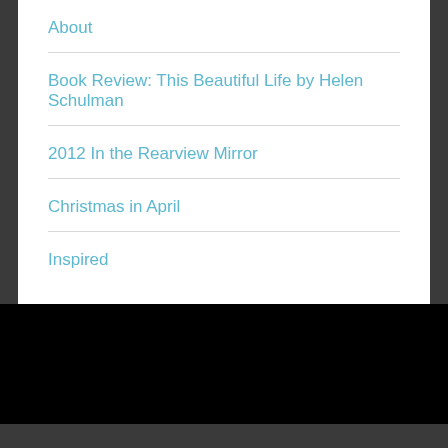About
Book Review: This Beautiful Life by Helen Schulman
2012 In the Rearview Mirror
Christmas in April
Inspired
Joe Beernink
Blog at WordPress.com.